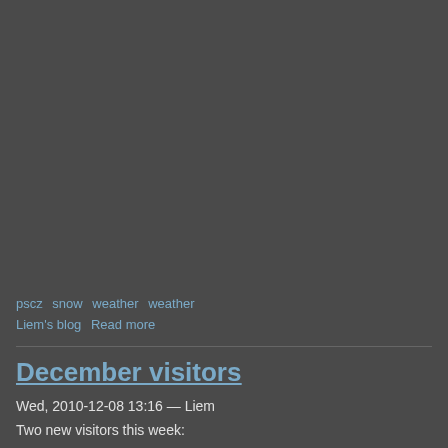pscz  snow  weather  weather
Liem's blog  Read more
December visitors
Wed, 2010-12-08 13:16 — Liem
Two new visitors this week: